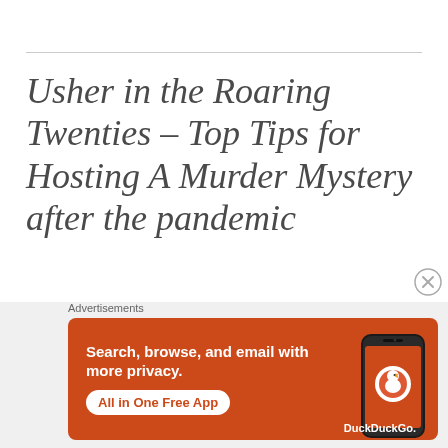Usher in the Roaring Twenties – Top Tips for Hosting A Murder Mystery after the pandemic
[Figure (screenshot): DuckDuckGo advertisement banner with orange background. Text reads 'Search, browse, and email with more privacy. All in One Free App' with DuckDuckGo logo and phone graphic.]